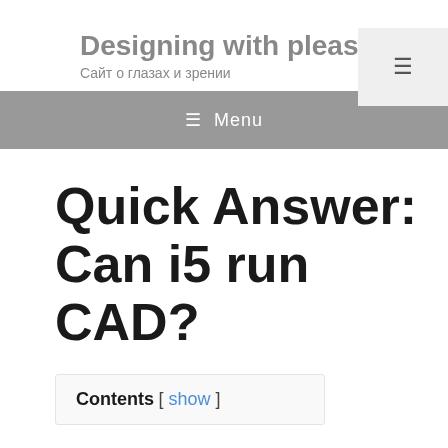Designing with pleasu
Сайт о глазах и зрении
[Figure (other): Hamburger menu toggle button in top right corner]
≡ Menu
Quick Answer: Can i5 run CAD?
Contents [ show ]